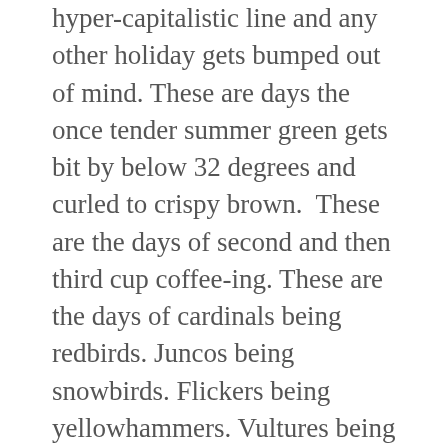hyper-capitalistic line and any other holiday gets bumped out of mind. These are days the once tender summer green gets bit by below 32 degrees and curled to crispy brown.  These are the days of second and then third cup coffee-ing. These are the days of cardinals being redbirds. Juncos being snowbirds. Flickers being yellowhammers. Vultures being buzzards.  These are the days of flip flops, chilly toes and fleece vests for warming. These are the days of ashy ankles needing more lotion. This is the day I don't care about what I look like